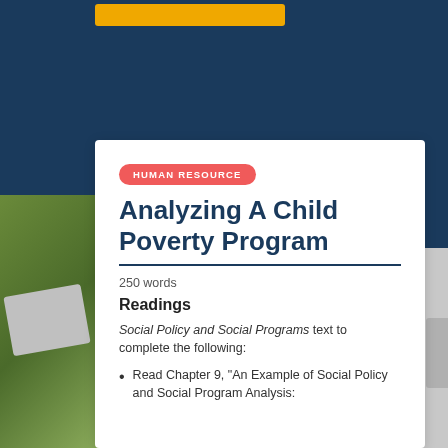[Figure (illustration): Dark navy blue background with yellow bar at top and photo of pencils/documents on left side]
HUMAN RESOURCE
Analyzing A Child Poverty Program
250 words
Readings
Social Policy and Social Programs text to complete the following:
Read Chapter 9, "An Example of Social Policy and Social Program Analysis: